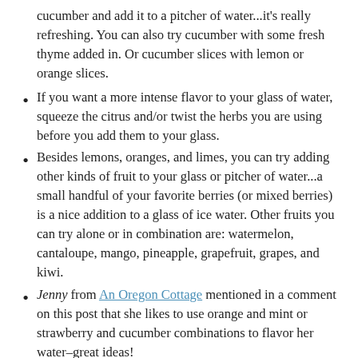cucumber and add it to a pitcher of water...it's really refreshing. You can also try cucumber with some fresh thyme added in. Or cucumber slices with lemon or orange slices.
If you want a more intense flavor to your glass of water, squeeze the citrus and/or twist the herbs you are using before you add them to your glass.
Besides lemons, oranges, and limes, you can try adding other kinds of fruit to your glass or pitcher of water...a small handful of your favorite berries (or mixed berries) is a nice addition to a glass of ice water. Other fruits you can try alone or in combination are: watermelon, cantaloupe, mango, pineapple, grapefruit, grapes, and kiwi.
Jenny from An Oregon Cottage mentioned in a comment on this post that she likes to use orange and mint or strawberry and cucumber combinations to flavor her water–great ideas!